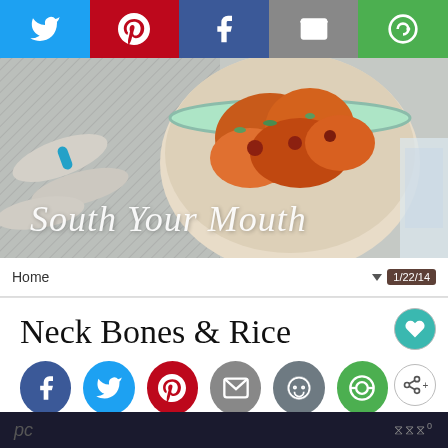[Figure (screenshot): Social sharing bar with Twitter, Pinterest, Facebook, Email, and Circle icons]
[Figure (photo): Header image of South Your Mouth food blog showing a bowl of shrimp and rice with the blog name in cursive script]
Home
Neck Bones & Rice
[Figure (infographic): Social sharing buttons: Facebook, Twitter, Pinterest, Email, Reddit, Circle]
A rustic Southern recipe of rice cooked in the savory stock from slowly simmered
pc